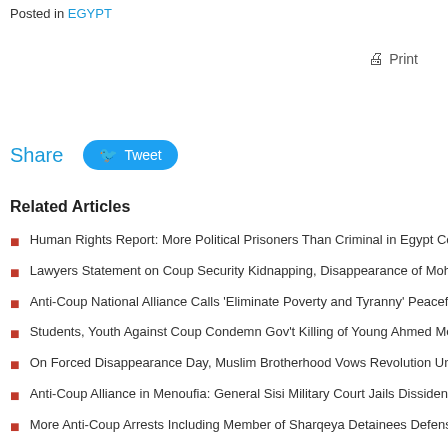Posted in EGYPT
🖨 Print
Share  Tweet
Related Articles
Human Rights Report: More Political Prisoners Than Criminal in Egypt Coup Jails
Lawyers Statement on Coup Security Kidnapping, Disappearance of Mohamed Sade
Anti-Coup National Alliance Calls 'Eliminate Poverty and Tyranny' Peaceful Protest W
Students, Youth Against Coup Condemn Gov't Killing of Young Ahmed Medhat
On Forced Disappearance Day, Muslim Brotherhood Vows Revolution Until Coup De
Anti-Coup Alliance in Menoufia: General Sisi Military Court Jails Dissidents in Mass T
More Anti-Coup Arrests Including Member of Sharqeya Detainees Defense Team
Anti-Coup National Alliance Calls for 'Rights of the Poor' Protest Week, Popular Upris